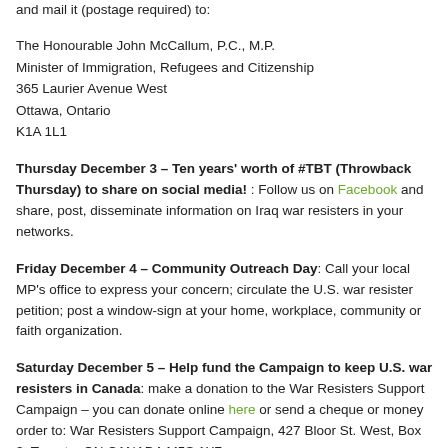and mail it (postage required) to:
The Honourable John McCallum, P.C., M.P.
Minister of Immigration, Refugees and Citizenship
365 Laurier Avenue West
Ottawa, Ontario
K1A 1L1
Thursday December 3 – Ten years' worth of #TBT (Throwback Thursday) to share on social media! : Follow us on Facebook and share, post, disseminate information on Iraq war resisters in your networks.
Friday December 4 – Community Outreach Day: Call your local MP's office to express your concern; circulate the U.S. war resister petition; post a window-sign at your home, workplace, community or faith organization.
Saturday December 5 – Help fund the Campaign to keep U.S. war resisters in Canada: make a donation to the War Resisters Support Campaign – you can donate online here or send a cheque or money order to: War Resisters Support Campaign, 427 Bloor St. West, Box 3, Toronto, ON CANADA M5S 1X7
After the Election – how you can help U.S. Iraq War Resisters